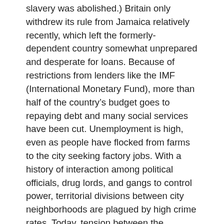slavery was abolished.) Britain only withdrew its rule from Jamaica relatively recently, which left the formerly-dependent country somewhat unprepared and desperate for loans. Because of restrictions from lenders like the IMF (International Monetary Fund), more than half of the country's budget goes to repaying debt and many social services have been cut. Unemployment is high, even as people have flocked from farms to the city seeking factory jobs. With a history of interaction among political officials, drug lords, and gangs to control power, territorial divisions between city neighborhoods are plagued by high crime rates. Today, tension between the country's two political parties is still high but the recent election passed with minimal violence. Because of unemployment and low funding for education, youth often have few options and a lot of time to “get into trouble.”